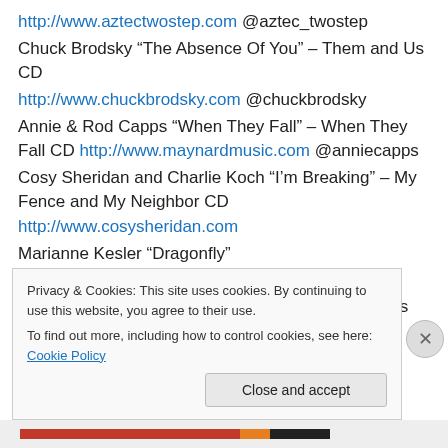http://www.aztectwostep.com @aztec_twostep
Chuck Brodsky “The Absence Of You” – Them and Us CD
http://www.chuckbrodsky.com @chuckbrodsky
Annie & Rod Capps “When They Fall” – When They Fall CD http://www.maynardmusic.com @anniecapps
Cosy Sheridan and Charlie Koch “I’m Breaking” – My Fence and My Neighbor CD http://www.cosysheridan.com
Marianne Kesler “Dragonfly”
http://www.mariannekesler.com @mariannekesler
Nancy Cassidy “We’ll Float On The Water” – River’s Rising CD http://www.nancycassidymusic.com
Privacy & Cookies: This site uses cookies. By continuing to use this website, you agree to their use. To find out more, including how to control cookies, see here: Cookie Policy
Close and accept